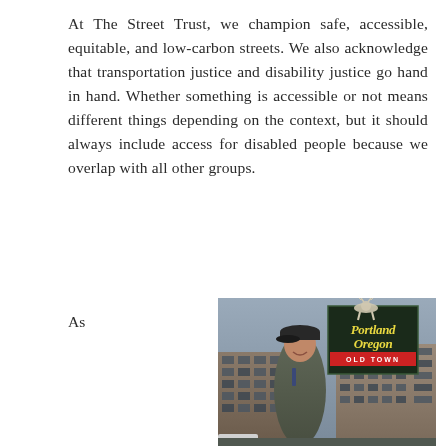At The Street Trust, we champion safe, accessible, equitable, and low-carbon streets. We also acknowledge that transportation justice and disability justice go hand in hand. Whether something is accessible or not means different things depending on the context, but it should always include access for disabled people because we overlap with all other groups.
As
[Figure (photo): A man wearing a baseball cap and jacket stands smiling in front of a brick building with the iconic Portland Oregon Old Town neon sign visible behind him. The sky is overcast.]